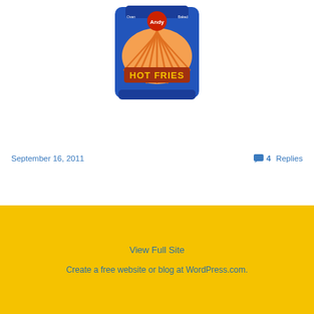[Figure (photo): A blue bag of Andy Caps Hot Fries snack, oven baked, with cartoon character on packaging and hot fries visible]
September 16, 2011
4 Replies
View Full Site
Create a free website or blog at WordPress.com.